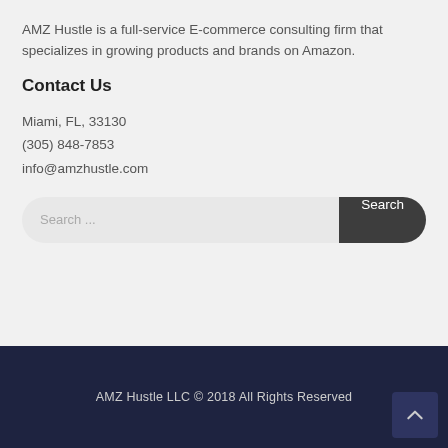AMZ Hustle is a full-service E-commerce consulting firm that specializes in growing products and brands on Amazon.
Contact Us
Miami, FL, 33130
(305) 848-7853
info@amzhustle.com
[Figure (other): Search bar with text input field showing 'Search ...' placeholder and a dark rounded Search button]
AMZ Hustle LLC © 2018 All Rights Reserved